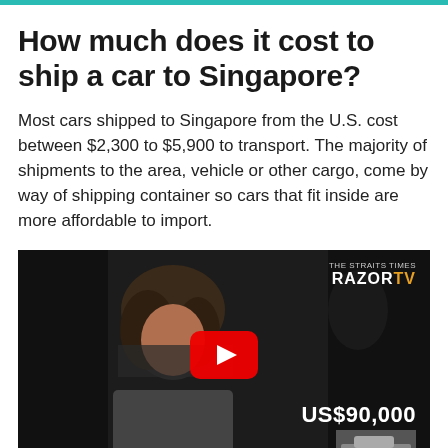How much does it cost to ship a car to Singapore?
Most cars shipped to Singapore from the U.S. cost between $2,300 to $5,900 to transport. The majority of shipments to the area, vehicle or other cargo, come by way of shipping container so cars that fit inside are more affordable to import.
[Figure (screenshot): Embedded YouTube video thumbnail showing a woman being interviewed, with The Straits Times RAZORTV logo in the upper right and 'US$90,000' text overlay at the bottom right, with a YouTube play button in the center.]